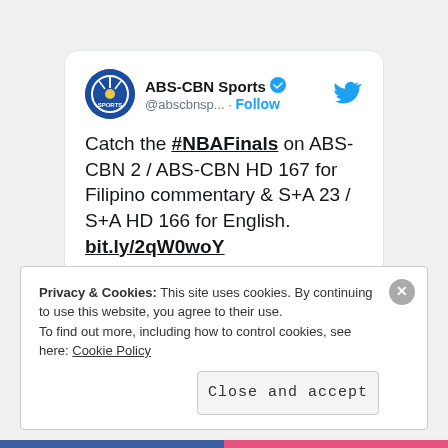[Figure (screenshot): Embedded tweet card from ABS-CBN Sports (@abscbnsp...) with a verified badge. Tweet text: 'Catch the #NBAFinals on ABS-CBN 2 / ABS-CBN HD 167 for Filipino commentary & S+A 23 / S+A HD 166 for English. bit.ly/2qW0woY'. Posted 5:18 AM · Jun 6, 2017. Shows 2 likes, Reply, Copy link, and Explore what's happening buttons.]
Privacy & Cookies: This site uses cookies. By continuing to use this website, you agree to their use. To find out more, including how to control cookies, see here: Cookie Policy
Close and accept